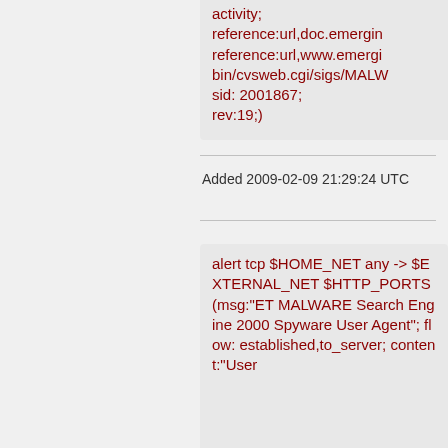activity; reference:url,doc.emergin reference:url,www.emergi bin/cvsweb.cgi/sigs/MALW sid: 2001867; rev:19;)
Added 2009-02-09 21:29:24 UTC
alert tcp $HOME_NET any -> $EXTERNAL_NET $HTTP_PORTS (msg:"ET MALWARE Search Engine 2000 Spyware User Agent"; flow: established,to_server; content:"User